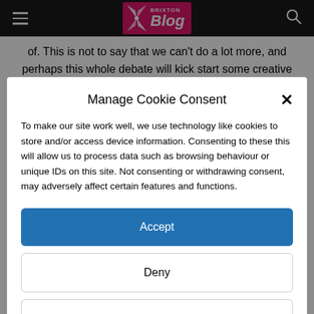Brixton Blog
of. This is not to say that we can't do a lot more, and perhaps this whole debate will kick start some creative
Manage Cookie Consent
To make our site work well, we use technology like cookies to store and/or access device information. Consenting to these this will allow us to process data such as browsing behaviour or unique IDs on this site. Not consenting or withdrawing consent, may adversely affect certain features and functions.
Accept
Deny
View preferences
Cookie Policy   Brixton Media privacy policy